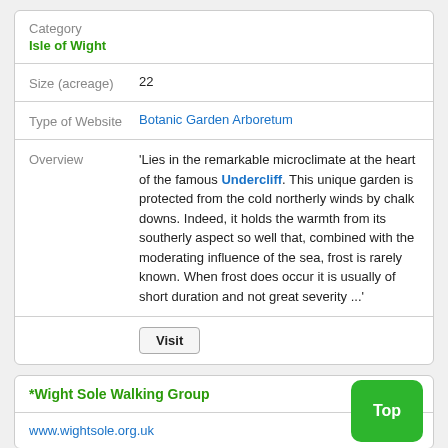| Category | Isle of Wight |
| Size (acreage) | 22 |
| Type of Website | Botanic Garden Arboretum |
| Overview | 'Lies in the remarkable microclimate at the heart of the famous Undercliff. This unique garden is protected from the cold northerly winds by chalk downs. Indeed, it holds the warmth from its southerly aspect so well that, combined with the moderating influence of the sea, frost is rarely known. When frost does occur it is usually of short duration and not great severity ...' |
|  | Visit |
*Wight Sole Walking Group
www.wightsole.org.uk